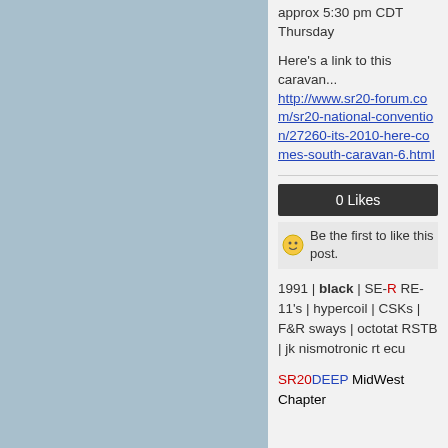approx 5:30 pm CDT Thursday
Here's a link to this caravan... http://www.sr20-forum.com/sr20-national-convention/27260-its-2010-here-comes-south-caravan-6.html
0 Likes
Be the first to like this post.
1991 | black | SE-R RE-11's | hypercoil | CSKs | F&R sways | octotat RSTB | jk nismotronic rt ecu
SR20DEEP MidWest Chapter